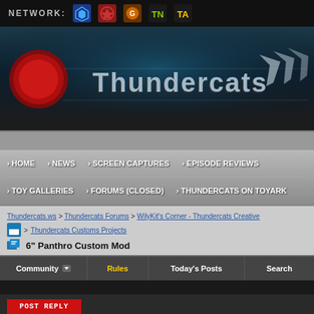NETWORK: [icons]
[Figure (screenshot): Thundercats website banner with logo text on dark teal/dark background]
› HOME  › NEWS  › SCREEN CAPTURES  › EPISODE REVIEWS  › TOY GALLERIES  › FORUMS (CLOSED)  › THUNDERCATS ON TOYARK
Thundercats.ws > Thundercats Forums > WilyKit's Corner - Thundercats Creative > Thundercats Customs Projects
6" Panthro Custom Mod
Community  Rules  Today's Posts  Search
POST REPLY
Thread Tools